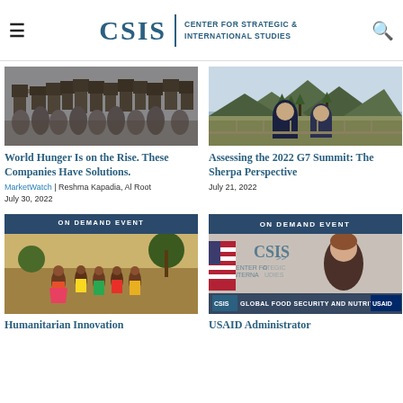CSIS | CENTER FOR STRATEGIC & INTERNATIONAL STUDIES
[Figure (photo): Crowd of journalists with cameras and microphones]
World Hunger Is on the Rise. These Companies Have Solutions.
MarketWatch | Reshma Kapadia, Al Root
July 30, 2022
[Figure (photo): Two men in suits looking at landscape from outdoor venue with mountains in background]
Assessing the 2022 G7 Summit: The Sherpa Perspective
July 21, 2022
[Figure (photo): ON DEMAND EVENT banner above photo of African children dancing in colorful traditional clothing]
Humanitarian Innovation
[Figure (photo): ON DEMAND EVENT banner above CSIS Global Food Security and Nutrition event with USAID speaker]
USAID Administrator